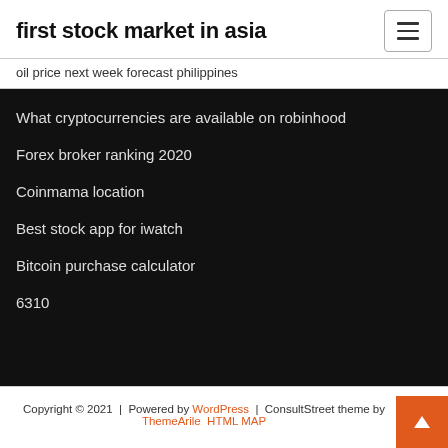first stock market in asia
oil price next week forecast philippines
What cryptocurrencies are available on robinhood
Forex broker ranking 2020
Coinmama location
Best stock app for iwatch
Bitcoin purchase calculator
6310
Copyright © 2021 | Powered by WordPress | ConsultStreet theme by ThemeArile HTML MAP